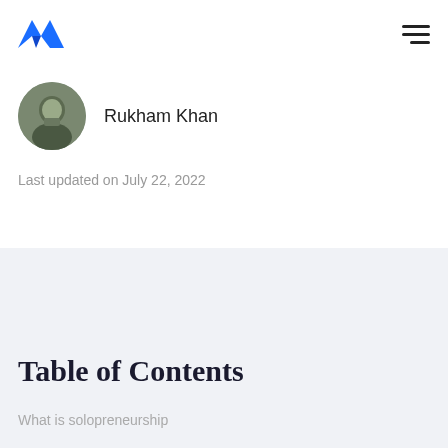Rukham Khan
Last updated on July 22, 2022
Table of Contents
What is solopreneurship